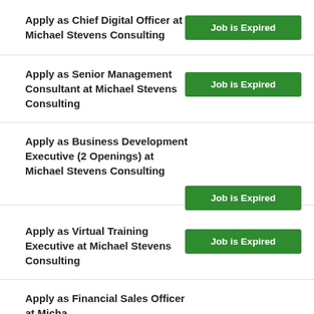Apply as Chief Digital Officer at Michael Stevens Consulting
Apply as Senior Management Consultant at Michael Stevens Consulting
Apply as Business Development Executive (2 Openings) at Michael Stevens Consulting
Apply as Virtual Training Executive at Michael Stevens Consulting
Apply as Financial Sales Officer at Michael...